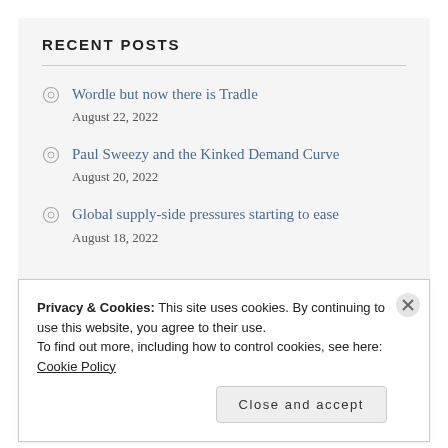RECENT POSTS
Wordle but now there is Tradle
August 22, 2022
Paul Sweezy and the Kinked Demand Curve
August 20, 2022
Global supply-side pressures starting to ease
August 18, 2022
Privacy & Cookies: This site uses cookies. By continuing to use this website, you agree to their use.
To find out more, including how to control cookies, see here: Cookie Policy